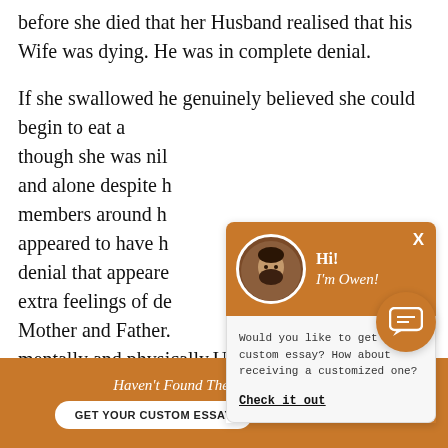before she died that her Husband realised that his Wife was dying. He was in complete denial.
If she swallowed he genuinely believed she could begin to eat a though she was nil and alone despite h members around h appeared to have h denial that appeare extra feelings of de Mother and Father. mentally and physically.Using this particular
[Figure (other): Chat widget with avatar of a man (Owen), orange header, greeting 'Hi! I'm Owen!', body text 'Would you like to get a custom essay? How about receiving a customized one?', link 'Check it out', and an orange chat bubble icon.]
Haven't Found The Essay You Want?
GET YOUR CUSTOM ESSAY
For Only $13.90/page